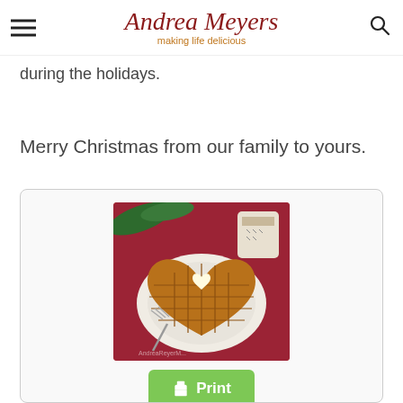Andrea Meyers — making life delicious
during the holidays.
Merry Christmas from our family to yours.
[Figure (photo): A heart-shaped waffle on a white plate with a fork, a small pat of butter in the center, and a cup of coffee in the background against a red Christmas-themed backdrop with pine branches.]
Print
Social sharing icons: Pinterest, Facebook, Twitter, WhatsApp, Evernote, Plus, Google, Email, WordPress, Print, AddThis